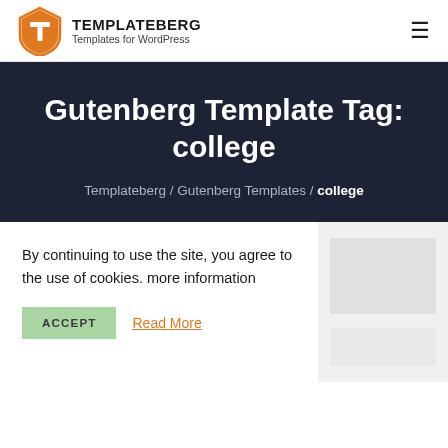[Figure (logo): Templateberg logo — orange T shield icon with bold TEMPLATEBERG wordmark and tagline 'Templates for WordPress']
TEMPLATEBERG
Templates for WordPress
Gutenberg Template Tag: college
Templateeberg / Gutenberg Templates / college
By continuing to use the site, you agree to the use of cookies. more information
ACCEPT   Read More